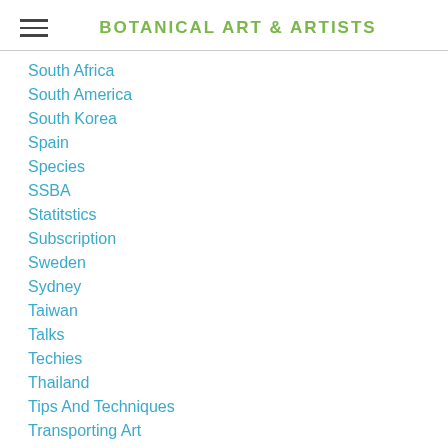BOTANICAL ART & ARTISTS
South Africa
South America
South Korea
Spain
Species
SSBA
Statitstics
Subscription
Sweden
Sydney
Taiwan
Talks
Techies
Thailand
Tips And Techniques
Transporting Art
Trees